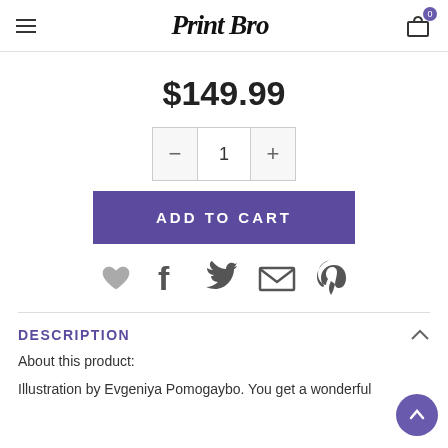Print Bro — navigation header with hamburger menu, logo, and cart icon (0 items)
$149.99
[Figure (other): Quantity selector showing minus button, quantity 1, and plus button]
ADD TO CART
[Figure (other): Social sharing icons: heart/wishlist, Facebook, Twitter, email, Pinterest]
DESCRIPTION
About this product:
Illustration by Evgeniya Pomogaybo. You get a wonderful